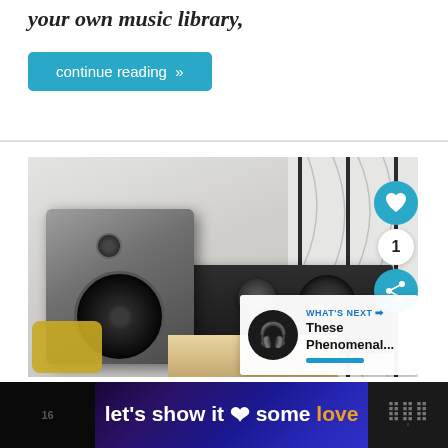your own music library,
continue reading »
[Figure (photo): Photo of a hi-fi audio speaker system with bookshelf speakers and stereo amplifier on a wooden shelf, with decorative wall art in background and yellow cushion visible. Overlaid UI elements include a heart/like button, share button, count badge showing 1, and a 'What's Next' panel showing headphones image and text 'These Phenomenal...']
[Figure (infographic): Advertisement banner with dark purple/blue gradient background and text 'let's show it some love' with a pink heart emoji, in white and orange text. Right side shows a logo with dots on dark background.]